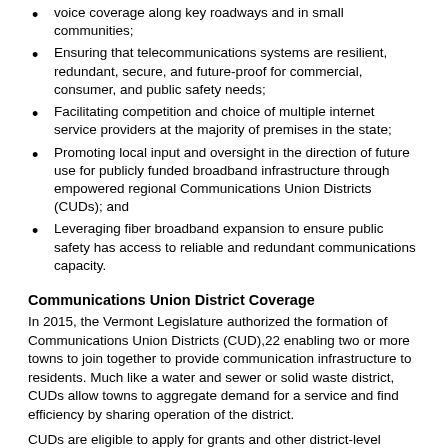voice coverage along key roadways and in small communities;
Ensuring that telecommunications systems are resilient, redundant, secure, and future-proof for commercial, consumer, and public safety needs;
Facilitating competition and choice of multiple internet service providers at the majority of premises in the state;
Promoting local input and oversight in the direction of future use for publicly funded broadband infrastructure through empowered regional Communications Union Districts (CUDs); and
Leveraging fiber broadband expansion to ensure public safety has access to reliable and redundant communications capacity.
Communications Union District Coverage
In 2015, the Vermont Legislature authorized the formation of Communications Union Districts (CUD),22 enabling two or more towns to join together to provide communication infrastructure to residents. Much like a water and sewer or solid waste district, CUDs allow towns to aggregate demand for a service and find efficiency by sharing operation of the district.
CUDs...